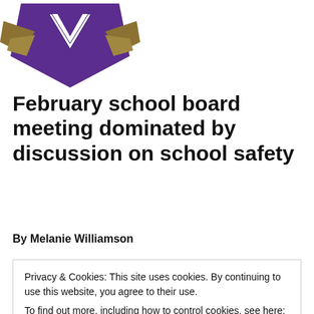[Figure (logo): School logo: purple shield with gold V letter and gold wing/arrow design]
February school board meeting dominated by discussion on school safety
By Melanie Williamson
At the Tuesday, February 20, school board meeting VHS principal Lisa Doliz addressed those in attendance
Privacy & Cookies: This site uses cookies. By continuing to use this website, you agree to their use.
To find out more, including how to control cookies, see here: Cookie Policy